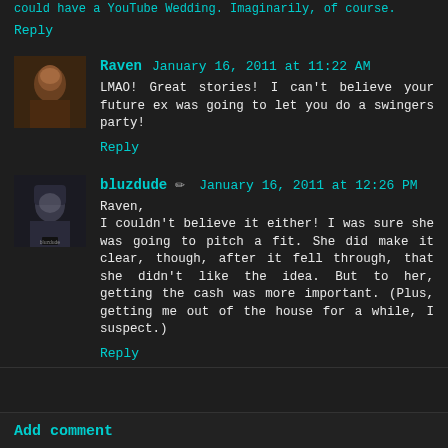could have a YouTube Wedding. Imaginarily, of course.
Reply
Raven  January 16, 2011 at 11:22 AM
LMAO! Great stories! I can't believe your future ex was going to let you do a swingers party!
Reply
bluzdude  January 16, 2011 at 12:26 PM
Raven,
I couldn't believe it either! I was sure she was going to pitch a fit. She did make it clear, though, after it fell through, that she didn't like the idea. But to her, getting the cash was more important. (Plus, getting me out of the house for a while, I suspect.)
Reply
Add comment